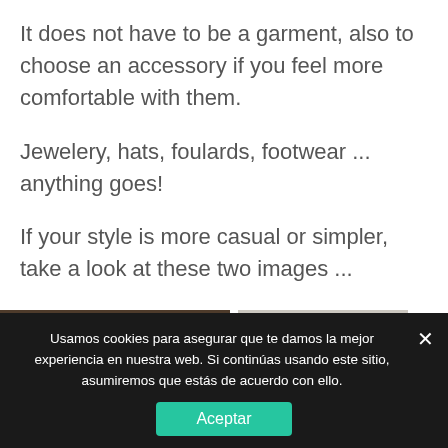It does not have to be a garment, also to choose an accessory if you feel more comfortable with them.
Jewelery, hats, foulards, footwear ... anything goes!
If your style is more casual or simpler, take a look at these two images ...
[Figure (photo): Two photos side by side: left shows a dark-toned fashion street scene, right shows a light-colored clothing item. A green WhatsApp button floats on the right.]
Usamos cookies para asegurar que te damos la mejor experiencia en nuestra web. Si continúas usando este sitio, asumiremos que estás de acuerdo con ello.